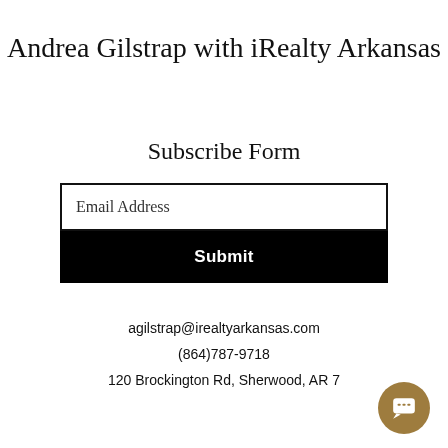Andrea Gilstrap with iRealty Arkansas
Subscribe Form
Email Address
Submit
agilstrap@irealtyarkansas.com
(864)787-9718
120 Brockington Rd, Sherwood, AR 7